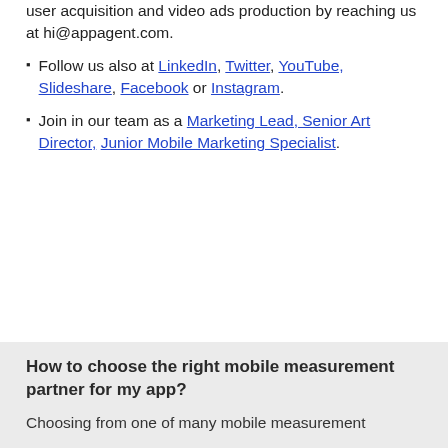user acquisition and video ads production by reaching us at hi@appagent.com.
Follow us also at LinkedIn, Twitter, YouTube, Slideshare, Facebook or Instagram.
Join in our team as a Marketing Lead, Senior Art Director, Junior Mobile Marketing Specialist.
How to choose the right mobile measurement partner for my app?
Choosing from one of many mobile measurement